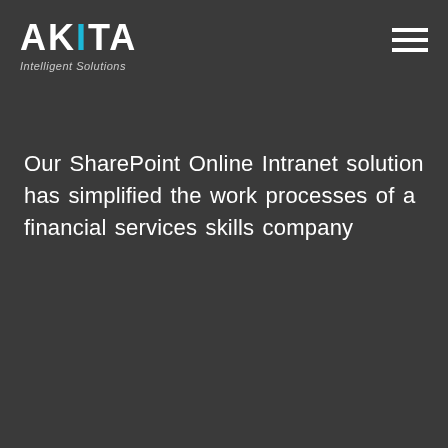AKITA Intelligent Solutions
Our SharePoint Online Intranet solution has simplified the work processes of a financial services skills company
Case study